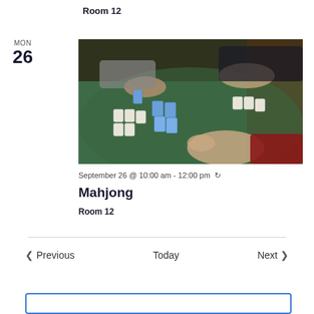Room 12
MON 26
[Figure (photo): People playing mahjong on a green felt table, hands reaching for mahjong tiles]
September 26 @ 10:00 am - 12:00 pm 🔃
Mahjong
Room 12
< Previous   Today   Next >